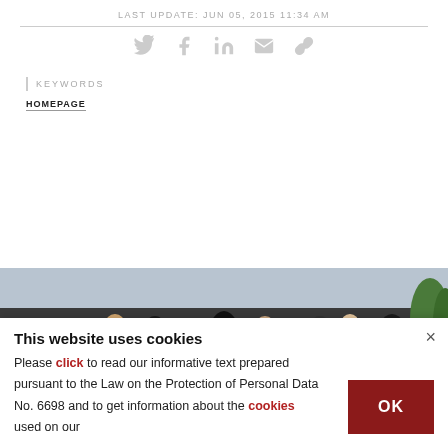LAST UPDATE: JUN 05, 2015 11:34 AM
[Figure (infographic): Social share icons: Twitter, Facebook, LinkedIn, Email, Link]
KEYWORDS
HOMEPAGE
[Figure (photo): Crowd of people walking outdoors, seen from behind, in an urban setting]
This website uses cookies
Please click to read our informative text prepared pursuant to the Law on the Protection of Personal Data No. 6698 and to get information about the cookies used on our